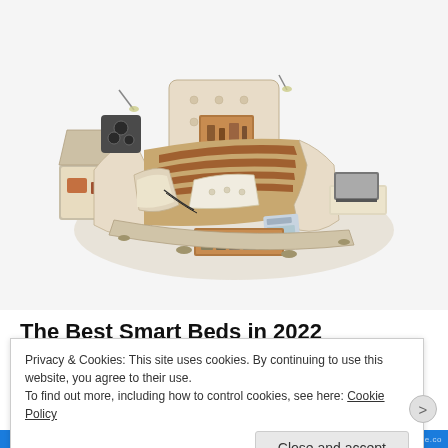[Figure (photo): A luxury smart bed with multiple integrated features including speakers, drawers, storage compartments, a massage chair, laptop stand, and LED lighting. The bed has cream/beige leather upholstery with a wooden accent surface.]
The Best Smart Beds in 2022 (View Now)
Privacy & Cookies: This site uses cookies. By continuing to use this website, you agree to their use.
To find out more, including how to control cookies, see here: Cookie Policy
Close and accept